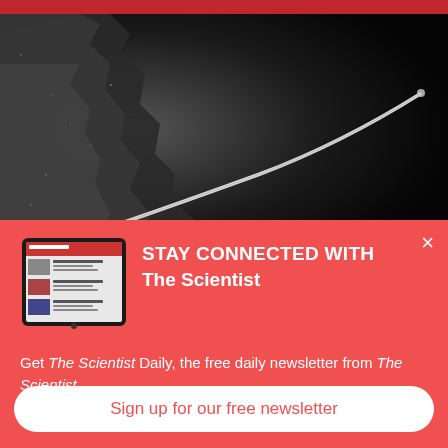[Figure (photo): Black and white electron microscope image showing what appears to be a biological filament or fiber (possibly a flagellum or similar structure) against a dark background, with a rough textured surface visible on the left side.]
STAY CONNECTED WITH The Scientist
Get The Scientist Daily, the free daily newsletter from The Scientist
Sign up for our free newsletter